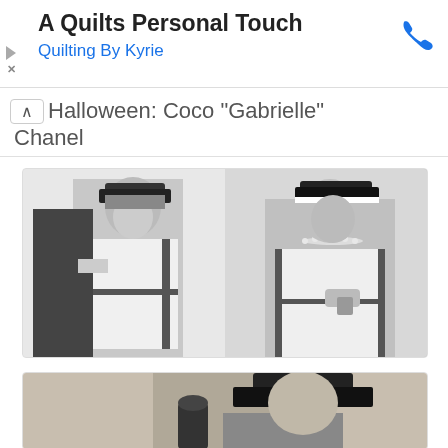[Figure (screenshot): Ad banner: A Quilts Personal Touch - Quilting By Kyrie with phone icon]
Halloween: Coco "Gabrielle" Chanel
[Figure (photo): Two black and white photos side by side of women dressed as Coco Chanel, wearing white jacket with black trim and black hat]
[Figure (photo): Partial black and white photo of woman dressed as Coco Chanel with black hat]